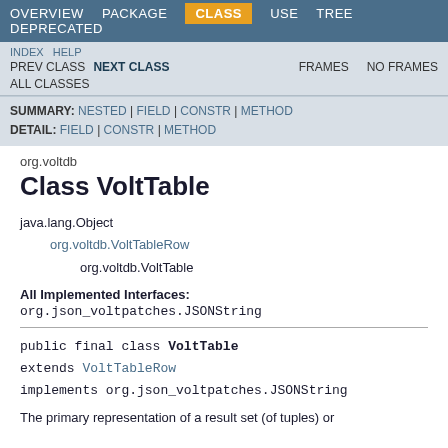OVERVIEW   PACKAGE   CLASS   USE   TREE   DEPRECATED
INDEX   HELP   PREV CLASS   NEXT CLASS   FRAMES   NO FRAMES   ALL CLASSES
SUMMARY: NESTED | FIELD | CONSTR | METHOD   DETAIL: FIELD | CONSTR | METHOD
org.voltdb
Class VoltTable
java.lang.Object
    org.voltdb.VoltTableRow
        org.voltdb.VoltTable
All Implemented Interfaces:
org.json_voltpatches.JSONString
public final class VoltTable
extends VoltTableRow
implements org.json_voltpatches.JSONString
The primary representation of a result set (of tuples) or